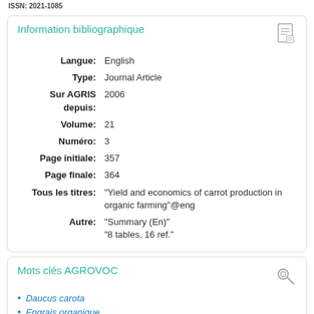ISSN: 2021-1085
Information bibliographique
| Field | Value |
| --- | --- |
| Langue: | English |
| Type: | Journal Article |
| Sur AGRIS depuis: | 2006 |
| Volume: | 21 |
| Numéro: | 3 |
| Page initiale: | 357 |
| Page finale: | 364 |
| Tous les titres: | "Yield and economics of carrot production in organic farming"@eng |
| Autre: | "Summary (En)"
"8 tables, 16 ref." |
Mots clés AGROVOC
Daucus carota
Engrais organique